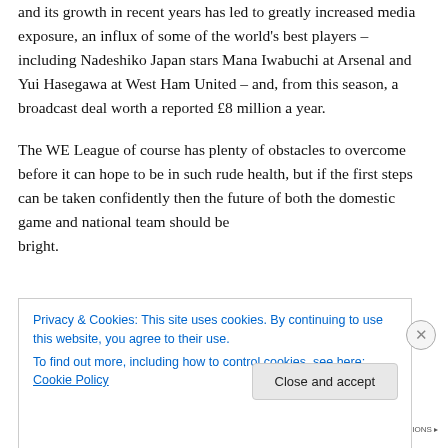and its growth in recent years has led to greatly increased media exposure, an influx of some of the world's best players – including Nadeshiko Japan stars Mana Iwabuchi at Arsenal and Yui Hasegawa at West Ham United – and, from this season, a broadcast deal worth a reported £8 million a year.

The WE League of course has plenty of obstacles to overcome before it can hope to be in such rude health, but if the first steps can be taken confidently then the future of both the domestic game and national team should be bright.
Privacy & Cookies: This site uses cookies. By continuing to use this website, you agree to their use.
To find out more, including how to control cookies, see here: Cookie Policy
Close and accept